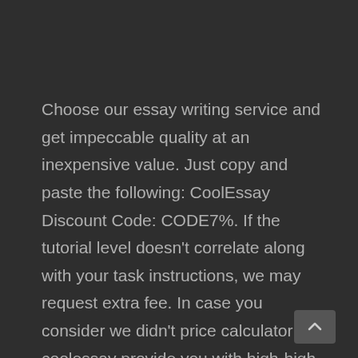Choose our essay writing service and get impeccable quality at an inexpensive value. Just copy and paste the following: CoolEssay Discount Code: CODE7%. If the tutorial level doesn't correlate along with your task instructions, we may request extra fee. In case you consider we didn't price calculator coolessay provide you with high-high quality writing help, you're all the time welcome to contact our assist team a couple of refund. When you buy papers with us, you all the time get one of the best 'write my essay' services that exist. At CoolEssay we don't waste precious time.